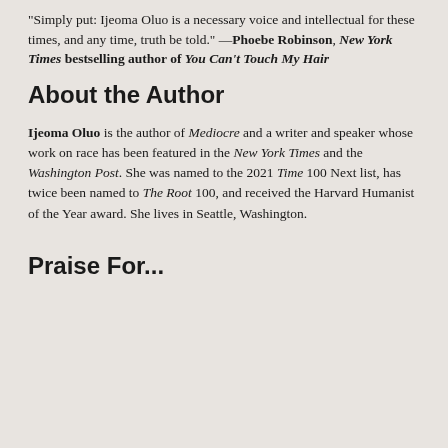"Simply put: Ijeoma Oluo is a necessary voice and intellectual for these times, and any time, truth be told." —Phoebe Robinson, New York Times bestselling author of You Can't Touch My Hair
About the Author
Ijeoma Oluo is the author of Mediocre and a writer and speaker whose work on race has been featured in the New York Times and the Washington Post. She was named to the 2021 Time 100 Next list, has twice been named to The Root 100, and received the Harvard Humanist of the Year award. She lives in Seattle, Washington.
Praise For...